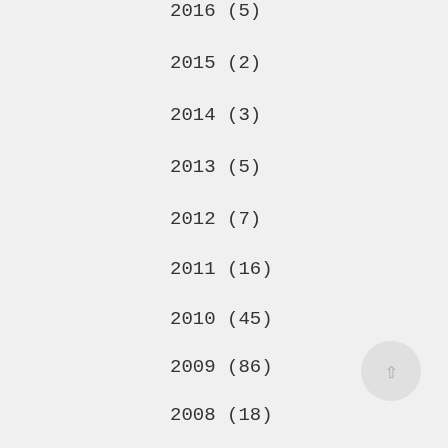2016 (5)
2015 (2)
2014 (3)
2013 (5)
2012 (7)
2011 (16)
2010 (45)
2009 (86)
2008 (18)
BUY THE EBOOK
Help! Is it it's or its? All the punctuation and grammar you need to know to get you through your